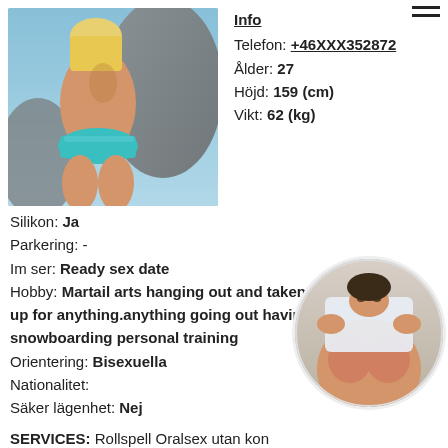[Figure (photo): Person in blue bikini bottom outdoors near rocks]
Info
Telefon: +46XXX352872
Ålder: 27
Höjd: 159 (cm)
Vikt: 62 (kg)
Silikon: Ja
Parkering: -
Im ser: Ready sex date
Hobby: Martail arts hanging out and taken care of my sonIm up for anything.anything going out having fun snowboarding personal training
Orientering: Bisexuella
Nationalitet:
Säker lägenhet: Nej
SERVICES: Rollspell Oralsex utan kond Lätt dominant Uniforms Analsex Oralsex Pulla Fetischer Bröstknulla Högklackat/stöv på ansiktet Smekning Tar emot slavar Anal stretching
[Figure (photo): Person holding white cloth at face level, circular crop]